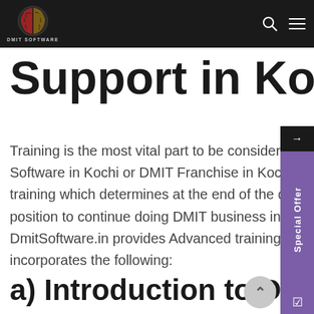DMIT SOFTWARE
Support in Kochi
Training is the most vital part to be considered while purchasing DMIT Software in Kochi or DMIT Franchise in Kochi. Accordingly, it’s the training which determines at the end of the day whether you’ll be in position to continue doing DMIT business in Kochi or not. DmitSoftware.in provides Advanced training to it’s clients which incorporates the following:
a) Introduction to DMIT